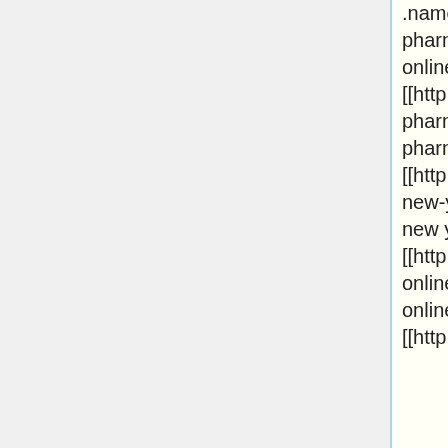.name/discount-online-pharmacies/ discount online pharmacies]] [[http://www7.25u.com/osco-pharmacies/ osco pharmacies]] [[http://x4.lov3.net/pharmacies-new-york/ pharmacies new york]] [[http://s32.bilsay.com/foreign-online-pharmacies/ foreign online pharmacies]] [[http://x25.plorp.com/online-